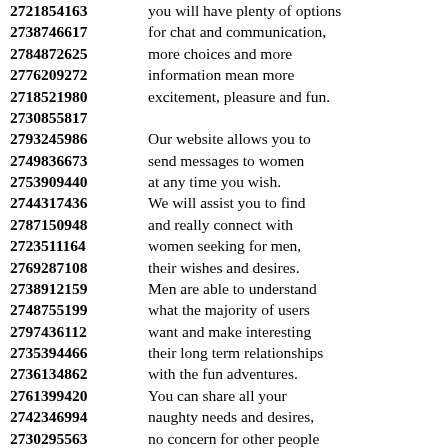2721854163  you will have plenty of options
2738746617  for chat and communication,
2784872625  more choices and more
2776209272  information mean more
2718521980  excitement, pleasure and fun.
2730855817
2793245986  Our website allows you to
2749836673  send messages to women
2753909440  at any time you wish.
2744317436  We will assist you to find
2787150948  and really connect with
2723511164  women seeking for men,
2769287108  their wishes and desires.
2738912159  Men are able to understand
2748755199  what the majority of users
2797436112  want and make interesting
2735394466  their long term relationships
2736134862  with the fun adventures.
2761399420  You can share all your
2742346994  naughty needs and desires,
2730295563  no concern for other people
2714262104  if someone is not available
2744595357  to check out and try out.
2776407916
2735946921  Generally, people tend to